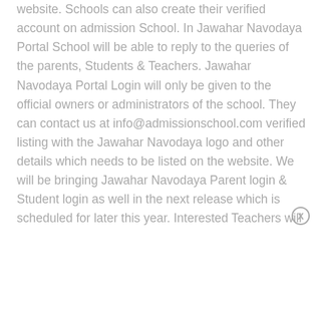website. Schools can also create their verified account on admission School. In Jawahar Navodaya Portal School will be able to reply to the queries of the parents, Students & Teachers. Jawahar Navodaya Portal Login will only be given to the official owners or administrators of the school. They can contact us at info@admissionschool.com verified listing with the Jawahar Navodaya logo and other details which needs to be listed on the website. We will be bringing Jawahar Navodaya Parent login & Student login as well in the next release which is scheduled for later this year. Interested Teachers will